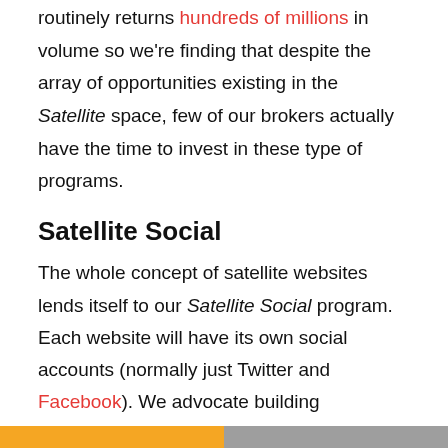routinely returns hundreds of millions in volume so we're finding that despite the array of opportunities existing in the Satellite space, few of our brokers actually have the time to invest in these type of programs.
Satellite Social
The whole concept of satellite websites lends itself to our Satellite Social program. Each website will have its own social accounts (normally just Twitter and Facebook). We advocate building audiences by way of dedicated social accounts with no real purpose other than to build segregated